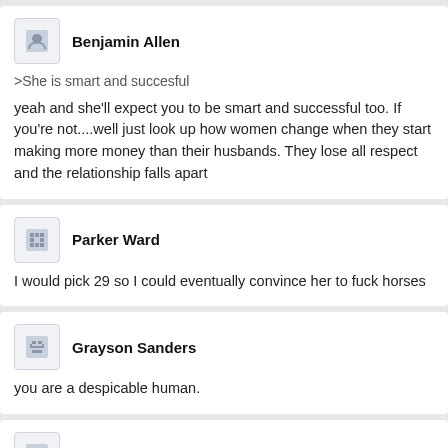Benjamin Allen
>She is smart and succesful
yeah and she'll expect you to be smart and successful too. If you're not....well just look up how women change when they start making more money than their husbands. They lose all respect and the relationship falls apart
Parker Ward
I would pick 29 so I could eventually convince her to fuck horses
Grayson Sanders
you are a despicable human.
Colton Roll